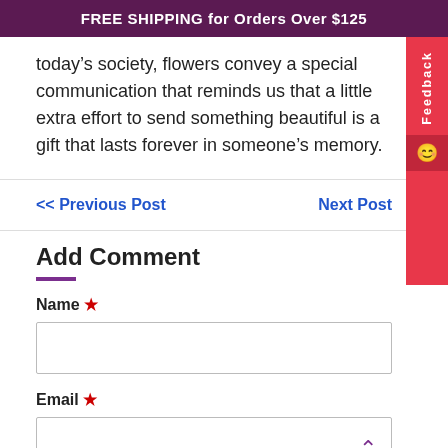FREE SHIPPING for Orders Over $125
today’s society, flowers convey a special communication that reminds us that a little extra effort to send something beautiful is a gift that lasts forever in someone’s memory.
<< Previous Post
Next Post
Add Comment
Name *
Email *